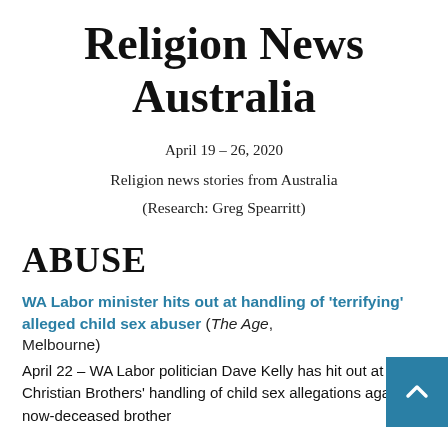Religion News Australia
April 19 – 26, 2020
Religion news stories from Australia
(Research: Greg Spearritt)
ABUSE
WA Labor minister hits out at handling of 'terrifying' alleged child sex abuser (The Age, Melbourne)
April 22 – WA Labor politician Dave Kelly has hit out at the Christian Brothers' handling of child sex allegations against a now-deceased brother